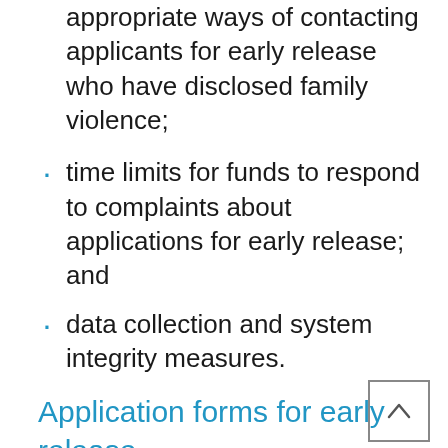appropriate ways of contacting applicants for early release who have disclosed family violence;
time limits for funds to respond to complaints about applications for early release; and
data collection and system integrity measures.
Application forms for early release
19.178 In light of many of the